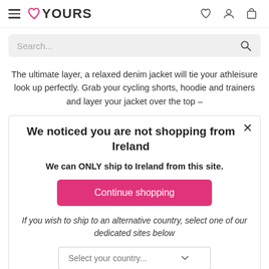[Figure (logo): YOURS clothing brand logo with heart icon in pink and hamburger menu icon on left]
[Figure (screenshot): Search bar with placeholder text 'Search...' and magnifying glass icon]
The ultimate layer, a relaxed denim jacket will tie your athleisure look up perfectly. Grab your cycling shorts, hoodie and trainers and layer your jacket over the top –
We noticed you are not shopping from Ireland
We can ONLY ship to Ireland from this site.
Continue shopping
If you wish to ship to an alternative country, select one of our dedicated sites below
Select your country...